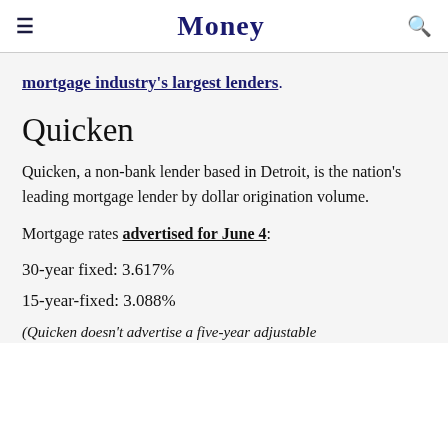Money
mortgage industry's largest lenders.
Quicken
Quicken, a non-bank lender based in Detroit, is the nation's leading mortgage lender by dollar origination volume.
Mortgage rates advertised for June 4:
30-year fixed: 3.617%
15-year-fixed: 3.088%
(Quicken doesn't advertise a five-year adjustable